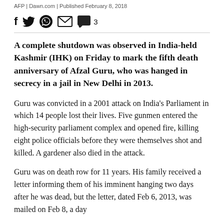AFP | Dawn.com | Published February 8, 2018
f 🐦 WhatsApp ✉ 💬 3
A complete shutdown was observed in India-held Kashmir (IHK) on Friday to mark the fifth death anniversary of Afzal Guru, who was hanged in secrecy in a jail in New Delhi in 2013.
Guru was convicted in a 2001 attack on India's Parliament in which 14 people lost their lives. Five gunmen entered the high-security parliament complex and opened fire, killing eight police officials before they were themselves shot and killed. A gardener also died in the attack.
Guru was on death row for 11 years. His family received a letter informing them of his imminent hanging two days after he was dead, but the letter, dated Feb 6, 2013, was mailed on Feb 8, a day